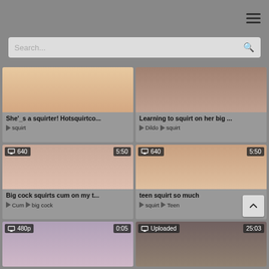Search...
[Figure (screenshot): Video thumbnail - She'_s a squirter! Hotsquirtco...]
She'_s a squirter! Hotsquirtco...
squirt
[Figure (screenshot): Video thumbnail - Learning to squirt on her big ...]
Learning to squirt on her big ...
Dildo  squirt
[Figure (screenshot): Video thumbnail 640 5:50 - Big cock squirts cum on my t...]
Big cock squirts cum on my t...
Cum  big cock
[Figure (screenshot): Video thumbnail 640 5:50 - teen squirt so much]
teen squirt so much
squirt  Teen
[Figure (screenshot): Video thumbnail 480p 0:05]
[Figure (screenshot): Video thumbnail Uploaded 25:03]